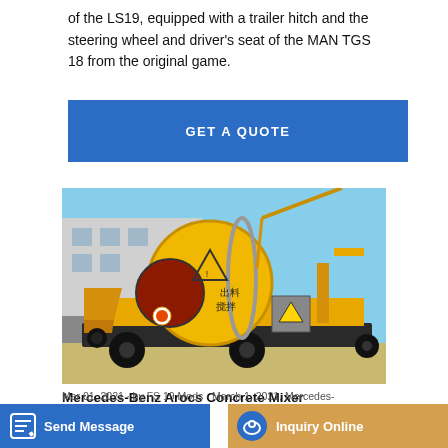of the LS19, equipped with a trailer hitch and the steering wheel and driver's seat of the MAN TGS 18 from the original game.
GET A QUOTE
[Figure (photo): Yellow concrete mixer pump machine on wheels, parked outdoors with blue sky background. Large rotating drum with Chinese characters, warning labels, and hopper visible.]
Mercedes-Benz Arocs Concrete Mixer
Mar 01, 2021 · by FS 19 Mods · March 1, 2021, Mercedes-
Send Message
Inquiry Online